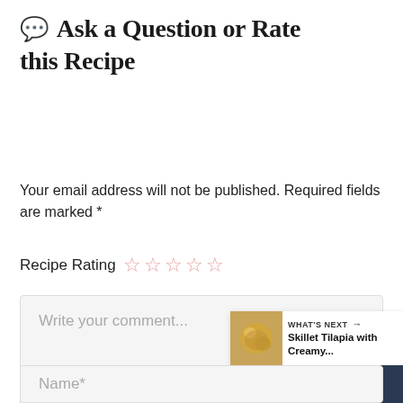💬 Ask a Question or Rate this Recipe
Your email address will not be published. Required fields are marked *
Recipe Rating ☆☆☆☆☆
Write your comment...
Name*